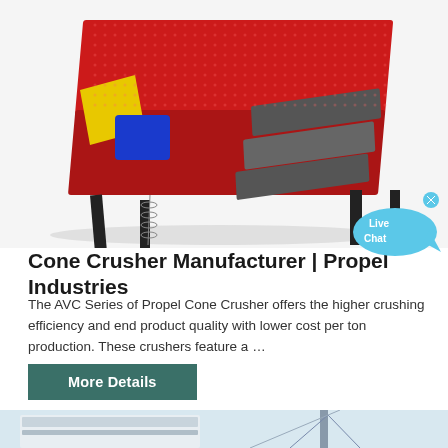[Figure (photo): Red industrial vibrating screen / cone crusher machine on black metal frame with yellow component and blue motor, angled perspective view on white background]
[Figure (illustration): Live Chat speech bubble icon in cyan/blue with 'Live Chat' text and an X close button]
Cone Crusher Manufacturer | Propel Industries
The AVC Series of Propel Cone Crusher offers the higher crushing efficiency and end product quality with lower cost per ton production. These crushers feature a …
More Details
[Figure (photo): Industrial plant or quarry facility exterior with steel structures and conveyor equipment against a light sky background]